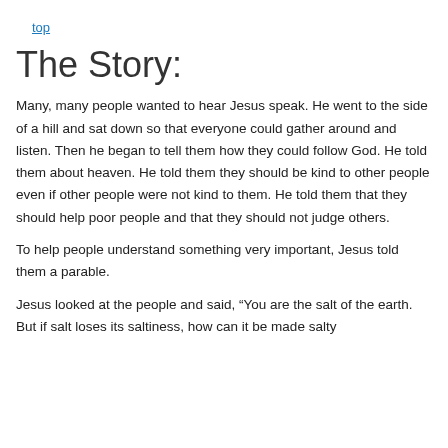top
The Story:
Many, many people wanted to hear Jesus speak. He went to the side of a hill and sat down so that everyone could gather around and listen. Then he began to tell them how they could follow God. He told them about heaven. He told them they should be kind to other people even if other people were not kind to them. He told them that they should help poor people and that they should not judge others.
To help people understand something very important, Jesus told them a parable.
Jesus looked at the people and said, “You are the salt of the earth. But if salt loses its saltiness, how can it be made salty